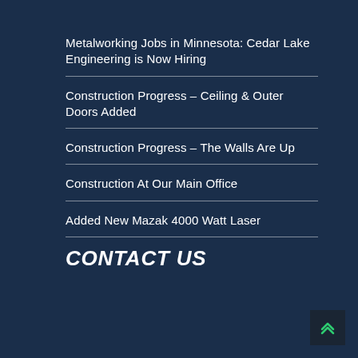Metalworking Jobs in Minnesota: Cedar Lake Engineering is Now Hiring
Construction Progress – Ceiling & Outer Doors Added
Construction Progress – The Walls Are Up
Construction At Our Main Office
Added New Mazak 4000 Watt Laser
CONTACT US